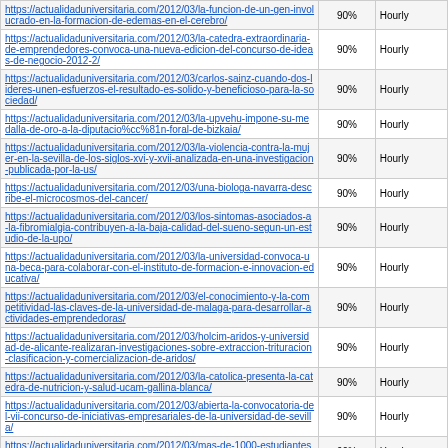| URL | Score | Type |
| --- | --- | --- |
| https://actualidaduniversitaria.com/2012/03/la-funcion-de-un-gen-involucrado-en-la-formacion-de-edemas-en-el-cerebro/ | 90% | Hourly |
| https://actualidaduniversitaria.com/2012/03/la-catedra-extraordinaria-de-emprendedores-convoca-una-nueva-edicion-del-concurso-de-ideas-de-negocio-2012-2/ | 90% | Hourly |
| https://actualidaduniversitaria.com/2012/03/carlos-sainz-cuando-dos-lideres-unen-esfuerzos-el-resultado-es-solido-y-beneficioso-para-la-sociedad/ | 90% | Hourly |
| https://actualidaduniversitaria.com/2012/03/la-upvehu-impone-su-medalla-de-oro-a-la-diputacio%cc%81n-foral-de-bizkaia/ | 90% | Hourly |
| https://actualidaduniversitaria.com/2012/03/la-violencia-contra-la-mujer-en-la-sevilla-de-los-siglos-xvi-y-xvii-analizada-en-una-investigacion-publicada-por-la-us/ | 90% | Hourly |
| https://actualidaduniversitaria.com/2012/03/una-biologa-navarra-describe-el-microcosmos-del-cancer/ | 90% | Hourly |
| https://actualidaduniversitaria.com/2012/03/los-sintomas-asociados-a-la-fibromialgia-contribuyen-a-la-baja-calidad-del-sueno-segun-un-estudio-de-la-upo/ | 90% | Hourly |
| https://actualidaduniversitaria.com/2012/03/la-universidad-convoca-una-beca-para-colaborar-con-el-instituto-de-formacion-e-innovacion-educativa/ | 90% | Hourly |
| https://actualidaduniversitaria.com/2012/03/el-conocimiento-y-la-competitividad-las-claves-de-la-universidad-de-malaga-para-desarrollar-actividades-emprendedoras/ | 90% | Hourly |
| https://actualidaduniversitaria.com/2012/03/holcim-aridos-y-universidad-de-alicante-realizaran-investigaciones-sobre-extraccion-trituracion-clasificacion-y-comercializacion-de-aridos/ | 90% | Hourly |
| https://actualidaduniversitaria.com/2012/03/la-catolica-presenta-la-catedra-de-nutricion-y-salud-ucam-gallina-blanca/ | 90% | Hourly |
| https://actualidaduniversitaria.com/2012/03/abierta-la-convocatoria-del-vii-concurso-de-iniciativas-empresariales-de-la-universidad-de-sevilla/ | 90% | Hourly |
| https://actualidaduniversitaria.com/2012/03/mas-de-1000-estudiantes-comienzan-su-gran-historia/ | 90% | Hourly |
| https://actualidaduniversitaria.com/2012/03/el-departamento-de-educacion-universidades-e-investigacion-y-la-upvehu-convocan-el-segundo-premio-... | 90% | Hourly |